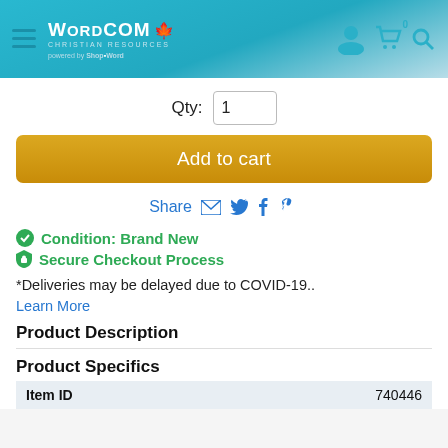[Figure (logo): Wordcom Christian Resources logo with maple leaf, on teal gradient header with navigation icons]
Qty: 1
Add to cart
Share
✔ Condition: Brand New
🔒 Secure Checkout Process
*Deliveries may be delayed due to COVID-19..
Learn More
Product Description
Product Specifics
| Item ID | 740446 |
| --- | --- |